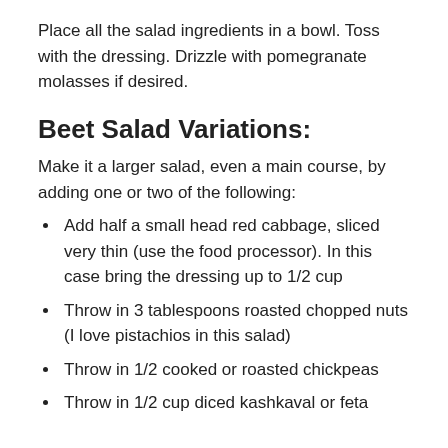Place all the salad ingredients in a bowl. Toss with the dressing. Drizzle with pomegranate molasses if desired.
Beet Salad Variations:
Make it a larger salad, even a main course, by adding one or two of the following:
Add half a small head red cabbage, sliced very thin (use the food processor). In this case bring the dressing up to 1/2 cup
Throw in 3 tablespoons roasted chopped nuts (I love pistachios in this salad)
Throw in 1/2 cooked or roasted chickpeas
Throw in 1/2 cup diced kashkaval or feta